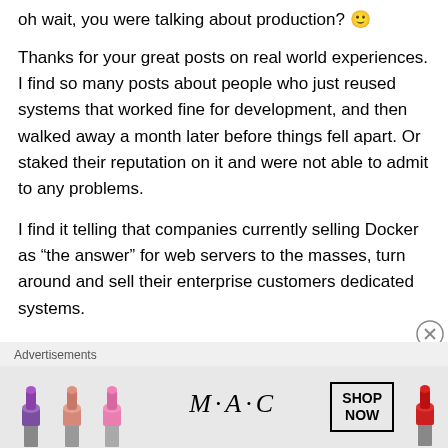oh wait, you were talking about production? 🙂
Thanks for your great posts on real world experiences. I find so many posts about people who just reused systems that worked fine for development, and then walked away a month later before things fell apart. Or staked their reputation on it and were not able to admit to any problems.
I find it telling that companies currently selling Docker as “the answer” for web servers to the masses, turn around and sell their enterprise customers dedicated systems.
Advertisements
[Figure (illustration): MAC Cosmetics advertisement banner showing lipsticks and SHOP NOW button]